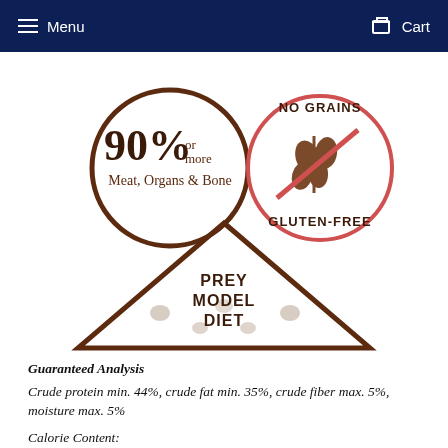Menu   Cart
[Figure (illustration): Three product certification icons: (1) A brown circle badge with '90% or more Meat, Organs & Bone', (2) A red/brown 'No Grains Gluten-Free' circle with a crossed-out grain icon, (3) A brown triangle badge with 'PREY MODEL DIET' text and paw print pattern.]
Guaranteed Analysis
Crude protein min. 44%, crude fat min. 35%, crude fiber max. 5%, moisture max. 5%
Calorie Content:
4,940 kcal/kg, 56 kcal/patty